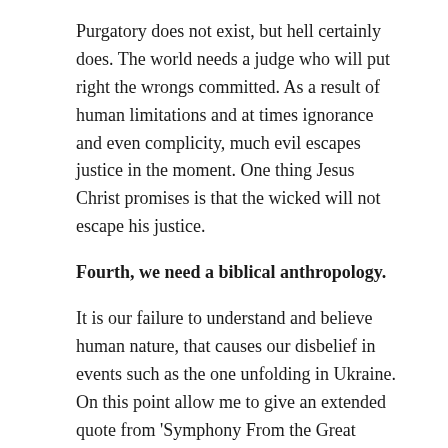Purgatory does not exist, but hell certainly does. The world needs a judge who will put right the wrongs committed. As a result of human limitations and at times ignorance and even complicity, much evil escapes justice in the moment. One thing Jesus Christ promises is that the wicked will not escape his justice.
Fourth, we need a biblical anthropology.
It is our failure to understand and believe human nature, that causes our disbelief in events such as the one unfolding in Ukraine. On this point allow me to give an extended quote from 'Symphony From the Great War', a little book that I wrote a couple of years ago, as it sums up the point at hand:
“The paradox of the human condition bewilders: such